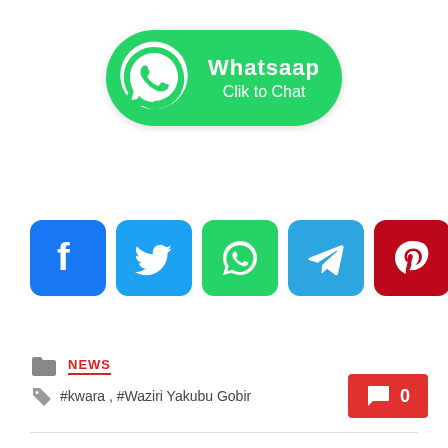[Figure (screenshot): WhatsApp 'Click to Chat' button with green background, phone icon, and text 'Whatsaap Clik to Chat']
[Figure (infographic): Row of social media share buttons: Facebook (blue), Twitter (light blue), WhatsApp (green), Telegram (teal), Pinterest (dark red), LinkedIn (blue), Reddit (orange), More/Plus (blue)]
NEWS
#kwara , #Waziri Yakubu Gobir
0